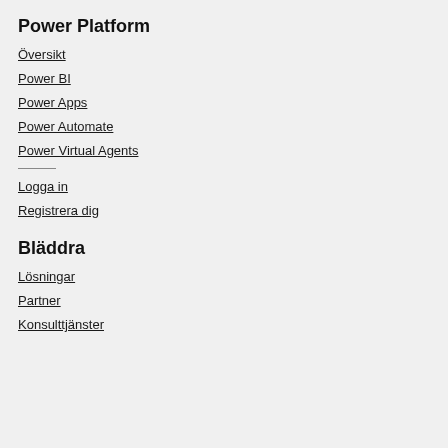Power Platform
Översikt
Power BI
Power Apps
Power Automate
Power Virtual Agents
Logga in
Registrera dig
Bläddra
Lösningar
Partner
Konsulttjänster